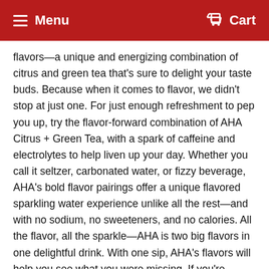Menu   Cart
flavors—a unique and energizing combination of citrus and green tea that's sure to delight your taste buds. Because when it comes to flavor, we didn't stop at just one. For just enough refreshment to pep you up, try the flavor-forward combination of AHA Citrus + Green Tea, with a spark of caffeine and electrolytes to help liven up your day. Whether you call it seltzer, carbonated water, or fizzy beverage, AHA's bold flavor pairings offer a unique flavored sparkling water experience unlike all the rest—and with no sodium, no sweeteners, and no calories. All the flavor, all the sparkle—AHA is two big flavors in one delightful drink. With one sip, AHA's flavors will help you see what you were missing. If you're looking for flavor variety, Citrus + Green Tea is only one of eight bold duos. AHA Sparkling Water comes in seven other unique flavor pairings that each have their own unique bold aroma and taste. And you can discover all the delicious combinations for yourself. AHA's array of different flavor combinations will refresh, renew, and awaken your taste buds, and include Lime + Watermelon, Strawberry + Cucumber, Blueberry + Pomegranate, Peach + Honey, Orange +